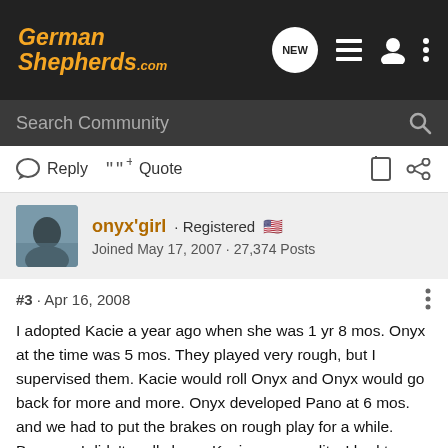[Figure (logo): GermanShepherds.com logo in orange/gold italic text on dark background]
Search Community
Reply   Quote
onyx'girl · Registered
Joined May 17, 2007 · 27,374 Posts
#3 · Apr 16, 2008
I adopted Kacie a year ago when she was 1 yr 8 mos. Onyx at the time was 5 mos. They played very rough, but I supervised them. Kacie would roll Onyx and Onyx would go back for more and more. Onyx developed Pano at 6 mos. and we had to put the brakes on rough play for a while. Because I didn't really know Kacies personality, I had to make sure she wasn't aggressive. She is fine and such a great dog!
Now a year later, they play hard, it is so much fun to watch